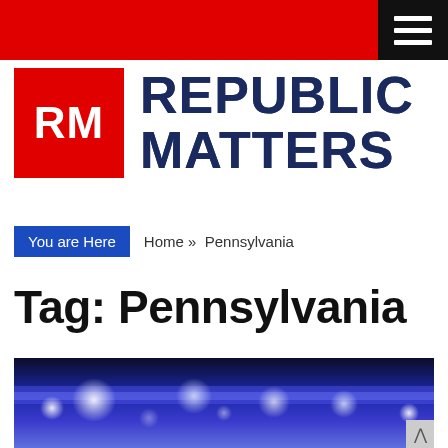Republic Matters
[Figure (logo): Republic Matters logo: red square with white RM text, and blue bold text REPUBLIC MATTERS beside it]
You are Here  Home » Pennsylvania
Tag: Pennsylvania
[Figure (photo): Blurred photo of a stage or event with blue and purple lighting and bokeh light circles]